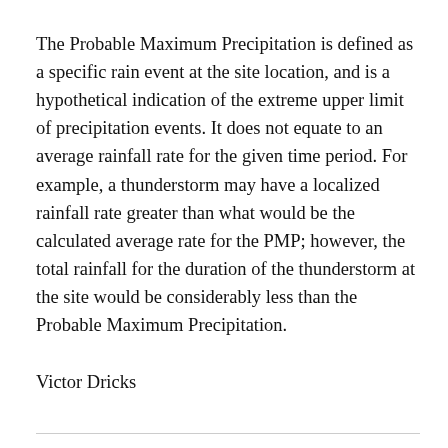The Probable Maximum Precipitation is defined as a specific rain event at the site location, and is a hypothetical indication of the extreme upper limit of precipitation events. It does not equate to an average rainfall rate for the given time period. For example, a thunderstorm may have a localized rainfall rate greater than what would be the calculated average rate for the PMP; however, the total rainfall for the duration of the thunderstorm at the site would be considerably less than the Probable Maximum Precipitation.
Victor Dricks